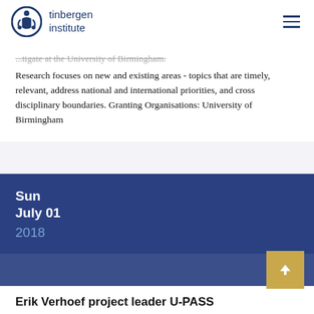tinbergen institute
...tigate at the University of Birmingham. Research focuses on new and existing areas - topics that are timely, relevant, address national and international priorities, and cross disciplinary boundaries. Granting Organisations: University of Birmingham
Sun
July 01
2018
Erik Verhoef project leader U-PASS